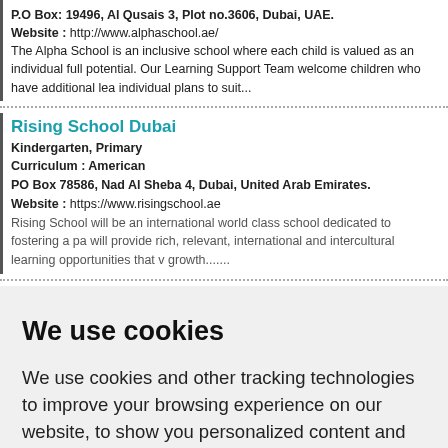P.O Box: 19496, Al Qusais 3, Plot no.3606, Dubai, UAE.
Website : http://www.alphaschool.ae/
The Alpha School is an inclusive school where each child is valued as an individual full potential. Our Learning Support Team welcome children who have additional lea individual plans to suit...
Rising School Dubai
Kindergarten, Primary
Curriculum : American
PO Box 78586, Nad Al Sheba 4, Dubai, United Arab Emirates.
Website : https://www.risingschool.ae
Rising School will be an international world class school dedicated to fostering a pa will provide rich, relevant, international and intercultural learning opportunities that v growth.......
We use cookies
We use cookies and other tracking technologies to improve your browsing experience on our website, to show you personalized content and targeted ads, to analyze our website traffic, and